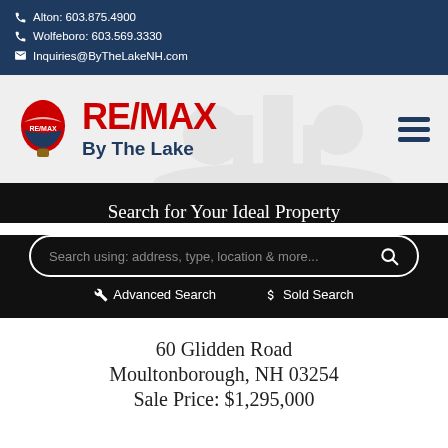📞 Alton: 603.875.4900
📞 Wolfeboro: 603.569.3330
✉ Inquiries@ByTheLakeNH.com
[Figure (logo): RE/MAX By The Lake logo with hot air balloon graphic and hamburger menu icon]
Search for Your Ideal Property
Search using: address, type, location & more...
🔧 Advanced Search   $ Sold Search
60 Glidden Road
Moultonborough, NH 03254
Sale Price: $1,295,000